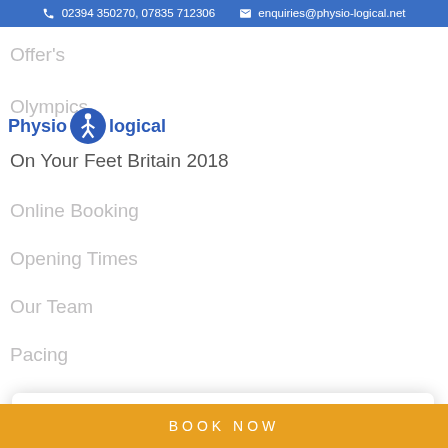02394 350270, 07835 712306   enquiries@physio-logical.net
[Figure (logo): Physio-logical logo with circular figure icon between 'Physio' and 'logical' in blue bold text]
Offer's
Olympics
On Your Feet Britain 2018
Online Booking
Opening Times
Our Team
Pacing
Emily Allchurch
Natalie is fantastic, really knowledgeable and takes time to get to know her clients so she can work out best...
Google ★★★★★
Piriformis syndrome
BOOK NOW